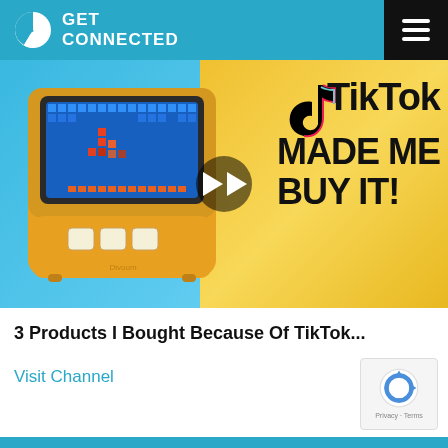GET CONNECTED
[Figure (screenshot): Video thumbnail showing a retro-style pixel art mini computer/speaker device on the left against a blue/yellow gradient background, with TikTok logo and text 'TikTok MADE ME BUY IT!' on the right, and a play button overlay in the center.]
3 Products I Bought Because Of TikTok...
Visit Channel
[Figure (logo): Google reCAPTCHA logo with 'Privacy · Terms' text below]